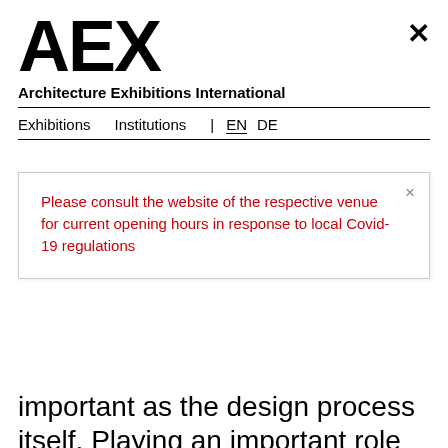AEX
Architecture Exhibitions International
Exhibitions   Institutions  |  EN  DE
Please consult the website of the respective venue for current opening hours in response to local Covid-19 regulations
important as the design process itself. Playing an important role in the implementation of this holistic approach is the material ferrocement. The use of innovative reinforcement materials enables ferrocement building elements to be as thin as 25 mm, significantly reducing transport and assembly costs.